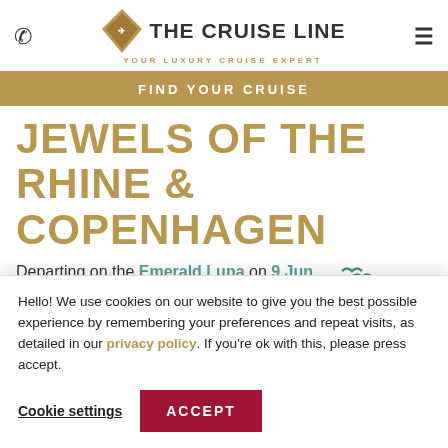THE CRUISE LINE — YOUR LUXURY CRUISE EXPERT
FIND YOUR CRUISE
JEWELS OF THE RHINE & COPENHAGEN
Departing on the Emerald Luna on 9 Jun 2023 for 10
[Figure (logo): Emerald Waterways logo with stylized wave marks above brand name]
Hello! We use cookies on our website to give you the best possible experience by remembering your preferences and repeat visits, as detailed in our privacy policy. If you're ok with this, please press accept.
Cookie settings
ACCEPT